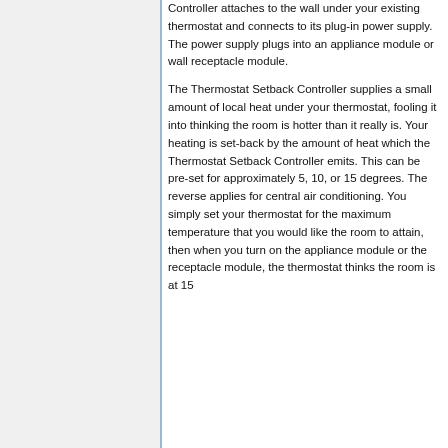Controller attaches to the wall under your existing thermostat and connects to its plug-in power supply. The power supply plugs into an appliance module or wall receptacle module.
The Thermostat Setback Controller supplies a small amount of local heat under your thermostat, fooling it into thinking the room is hotter than it really is. Your heating is set-back by the amount of heat which the Thermostat Setback Controller emits. This can be pre-set for approximately 5, 10, or 15 degrees. The reverse applies for central air conditioning. You simply set your thermostat for the maximum temperature that you would like the room to attain, then when you turn on the appliance module or the receptacle module, the thermostat thinks the room is at 15